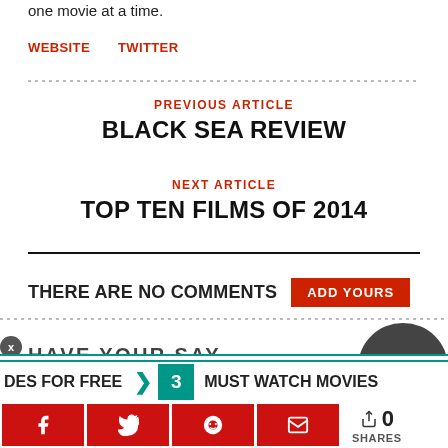one movie at a time.
WEBSITE   TWITTER
PREVIOUS ARTICLE
BLACK SEA REVIEW
NEXT ARTICLE
TOP TEN FILMS OF 2014
THERE ARE NO COMMENTS  ADD YOURS
DES FOR FREE  3  MUST WATCH MOVIES  0 SHARES